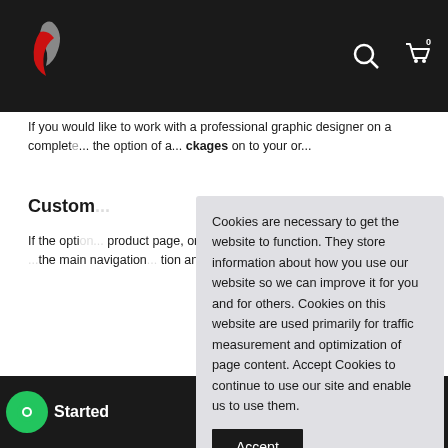[Figure (screenshot): Website navigation bar with logo (red and gray flame/leaf icon on dark background), search icon, and cart icon with 0 badge.]
If you would like to work with a professional graphic designer on a comple... the option of a... ckages on to your or...
Custom...
If the opti... product page, or if... d us to provide a... info@xpre... the main navigation... tion and anything else required.
Cookies are necessary to get the website to function. They store information about how you use our website so we can improve it for you and for others. Cookies on this website are used primarily for traffic measurement and optimization of page content. Accept Cookies to continue to use our site and enable us to use them.
Accept
Total : $ 99.00